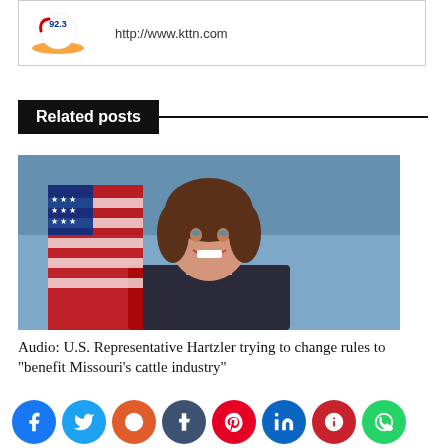[Figure (logo): 92.3 radio station logo with orange swoosh]
http://www.kttn.com
Related posts
[Figure (photo): Official portrait photo of U.S. Representative Hartzler, a woman with brown hair, smiling, with an American flag in the background]
Audio: U.S. Representative Hartzler trying to change rules to "benefit Missouri's cattle industry"